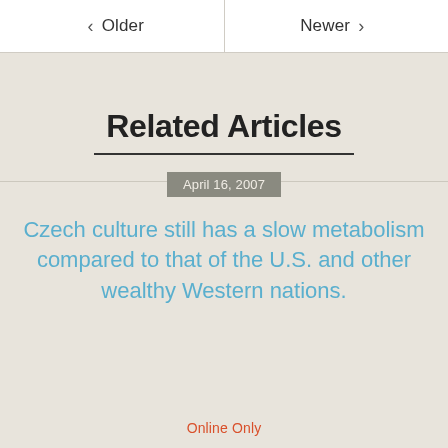< Older  |  Newer >
Related Articles
April 16, 2007
Czech culture still has a slow metabolism compared to that of the U.S. and other wealthy Western nations.
Online Only